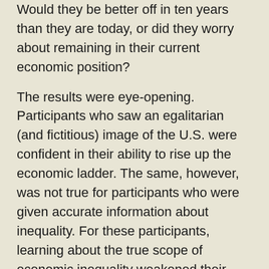Would they be better off in ten years than they are today, or did they worry about remaining in their current economic position?
The results were eye-opening. Participants who saw an egalitarian (and fictitious) image of the U.S. were confident in their ability to rise up the economic ladder. The same, however, was not true for participants who were given accurate information about inequality. For these participants, learning about the true scope of economic inequality weakened their belief in economic mobility.
Alarmingly, not giving participants any information was as bad as giving them explicitly